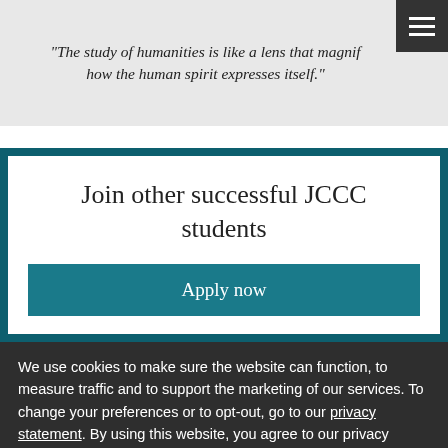"The study of humanities is like a lens that magnif... how the human spirit expresses itself."
Join other successful JCCC students
Apply now
We use cookies to make sure the website can function, to measure traffic and to support the marketing of our services. To change your preferences or to opt-out, go to our privacy statement. By using this website, you agree to our privacy statement and website terms of use.
Accept and Continue